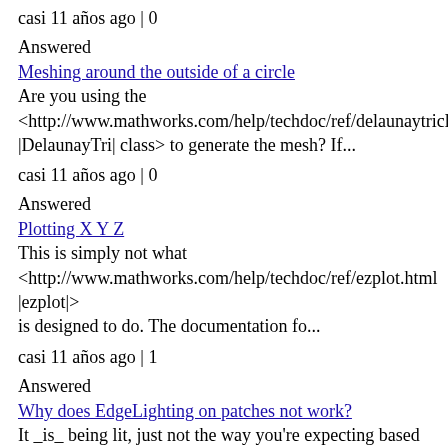casi 11 años ago | 0
Answered
Meshing around the outside of a circle
Are you using the <http://www.mathworks.com/help/techdoc/ref/delaunaytriclass.html |DelaunayTri| class> to generate the mesh? If...
casi 11 años ago | 0
Answered
Plotting X Y Z
This is simply not what <http://www.mathworks.com/help/techdoc/ref/ezplot.html |ezplot|> is designed to do. The documentation fo...
casi 11 años ago | 1
Answered
Why does EdgeLighting on patches not work?
It _is_ being lit, just not the way you're expecting based on how the patch was created. For example, after doing this... ...
casi 11 años ago | 2